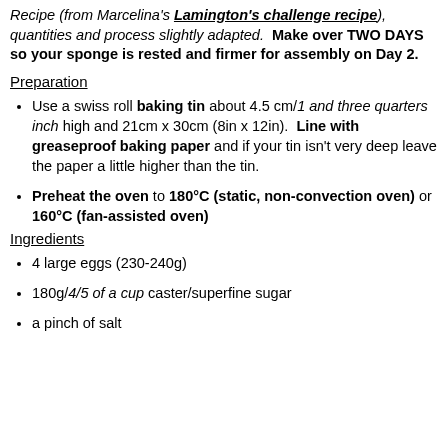Recipe (from Marcelina's Lamington's challenge recipe), quantities and process slightly adapted. Make over TWO DAYS so your sponge is rested and firmer for assembly on Day 2.
Preparation
Use a swiss roll baking tin about 4.5 cm/1 and three quarters inch high and 21cm x 30cm (8in x 12in). Line with greaseproof baking paper and if your tin isn't very deep leave the paper a little higher than the tin.
Preheat the oven to 180°C (static, non-convection oven) or 160°C (fan-assisted oven)
Ingredients
4 large eggs (230-240g)
180g/4/5 of a cup caster/superfine sugar
a pinch of salt